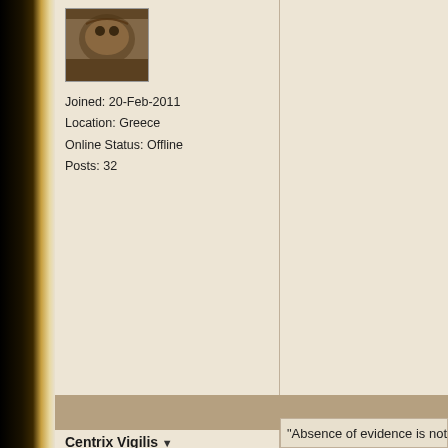Joined: 20-Feb-2011
Location: Greece
Online Status: Offline
Posts: 32
Centrix Vigilis ▼
Emperor
Joined: 18-Aug-2006
Location: The Llano
Online Status: Offline
Posts: 7392
Posted: 30-Jun-2011 at 10:25
Lets talk Marius then Vagos.
Edited by Centrix Vigilis - 30-Jun-2011 at 12:4
"Absence of evidence is not evidence o